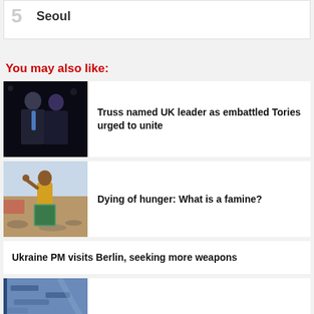5 Seoul
You may also like:
[Figure (photo): Two people standing together at a dark event, man in suit with blue tie and woman in dark outfit]
Truss named UK leader as embattled Tories urged to unite
[Figure (photo): Person in yellow top standing outdoors in arid landscape]
Dying of hunger: What is a famine?
Ukraine PM visits Berlin, seeking more weapons
[Figure (photo): Partial view of an image, blue tones]